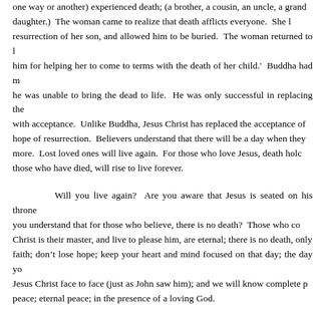one way or another) experienced death; (a brother, a cousin, an uncle, a grand daughter.)  The woman came to realize that death afflicts everyone.  She learned about the resurrection of her son, and allowed him to be buried.  The woman returned to Buddha and thanked him for helping her to come to terms with the death of her child.'  Buddha had made it clear that he was unable to bring the dead to life.  He was only successful in replacing the grief of loss with acceptance.  Unlike Buddha, Jesus Christ has replaced the acceptance of loss with the hope of resurrection.  Believers understand that there will be a day when they will die no more.  Lost loved ones will live again.  For those who love Jesus, death holds no sting; those who have died, will rise to live forever.
Will you live again?  Are you aware that Jesus is seated on his throne? Do you understand that for those who believe, there is no death?  Those who confess that Christ is their master, and live to please him, are eternal; there is no death, only life.  Keep faith; don't lose hope; keep your heart and mind focused on that day; the day you will see Jesus Christ face to face (just as John saw him); and we will know complete peace; eternal peace; in the presence of a loving God.
“Lord Heavenly Father, we come before You and we recognize Your glory.  Jesus we look forward to the day we will see You face to face.  You are the one true and living God, and we put our faith and trust completely in You.  We trust to live forever with You, in Your eternal Kingdom.  Give us the courage and strength to others who may not know You, that they might come to accept You and receive